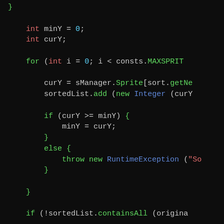[Figure (screenshot): Dark-themed code editor screenshot showing Java/C++ code with syntax highlighting. Code includes variable declarations (int minY = 0; int curY;), a for loop, array access, sortedList.add call, if/else block with throw statement, closing brace, and if (!sortedList.containsAll check.]